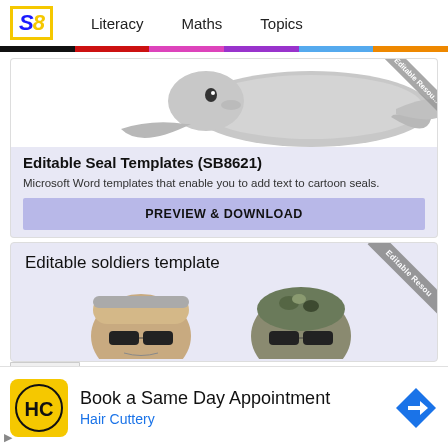SB  Literacy  Maths  Topics
[Figure (illustration): Cartoon seal illustration from Editable Seal Templates resource]
Editable Seal Templates (SB8621)
Microsoft Word templates that enable you to add text to cartoon seals.
PREVIEW & DOWNLOAD
[Figure (illustration): Cartoon soldier head illustrations for editable soldiers template resource with 'Editable Resource' ribbon]
Editable soldiers template
Book a Same Day Appointment
Hair Cuttery